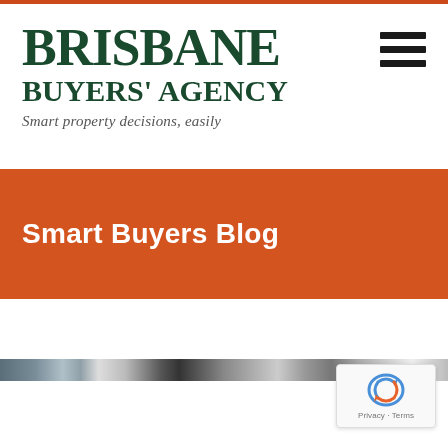[Figure (logo): Brisbane Buyers' Agency logo with tagline 'Smart property decisions, easily' in dark green serif font]
[Figure (other): Hamburger menu icon (three horizontal lines) in top right corner]
Smart Buyers Blog
[Figure (photo): Partial image strip visible at bottom of page]
[Figure (other): Google reCAPTCHA badge with Privacy and Terms text]